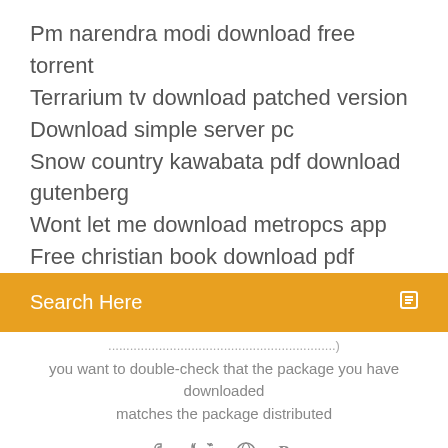Pm narendra modi download free torrent
Terrarium tv download patched version
Download simple server pc
Snow country kawabata pdf download gutenberg
Wont let me download metropcs app
Free christian book download pdf
[Figure (screenshot): Search bar with orange background and text 'Search Here']
you want to double-check that the package you have downloaded matches the package distributed
[Figure (infographic): Social share icons: facebook, twitter, dribbble, behance]
11 Jul 2018 One Little Thing: Embed a File in the HTML Output of R Markdown the Rmd source file in the HTML output so readers can download it), I had